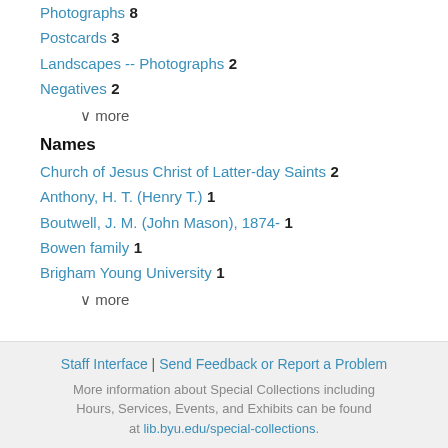Photographs 8
Postcards 3
Landscapes -- Photographs 2
Negatives 2
∨ more
Names
Church of Jesus Christ of Latter-day Saints 2
Anthony, H. T. (Henry T.) 1
Boutwell, J. M. (John Mason), 1874- 1
Bowen family 1
Brigham Young University 1
∨ more
Staff Interface | Send Feedback or Report a Problem
More information about Special Collections including Hours, Services, Events, and Exhibits can be found at lib.byu.edu/special-collections.